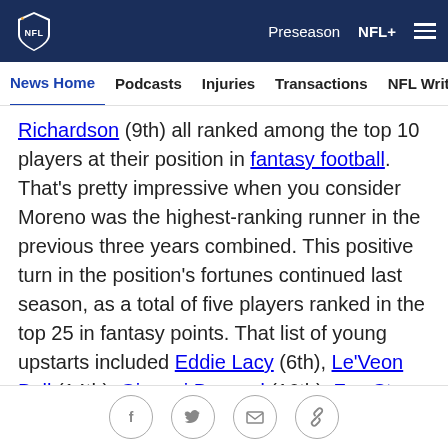NFL | Preseason | NFL+
News Home | Podcasts | Injuries | Transactions | NFL Writers | Se
Richardson (9th) all ranked among the top 10 players at their position in fantasy football. That's pretty impressive when you consider Moreno was the highest-ranking runner in the previous three years combined. This positive turn in the position's fortunes continued last season, as a total of five players ranked in the top 25 in fantasy points. That list of young upstarts included Eddie Lacy (6th), Le'Veon Bell (14th), Giovani Bernard (16th), Zac Stacy (18th) and Andre Ellington (24th).
The 2014 running back class might not have one first-rounder according to NFL Media draft analyst Mike
Social share icons: Facebook, Twitter, Email, Link